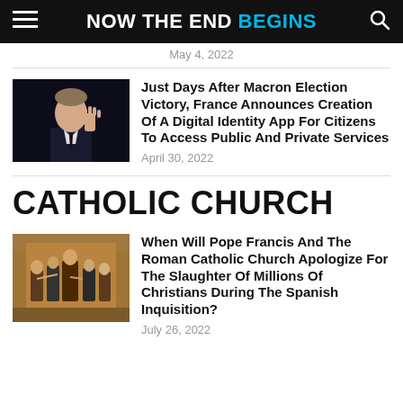NOW THE END BEGINS
May 4, 2022
[Figure (photo): Photo of Emmanuel Macron in dark background, gesturing with hand]
Just Days After Macron Election Victory, France Announces Creation Of A Digital Identity App For Citizens To Access Public And Private Services
April 30, 2022
CATHOLIC CHURCH
[Figure (photo): Painting or illustration depicting the Spanish Inquisition with figures in historical dress]
When Will Pope Francis And The Roman Catholic Church Apologize For The Slaughter Of Millions Of Christians During The Spanish Inquisition?
July 26, 2022